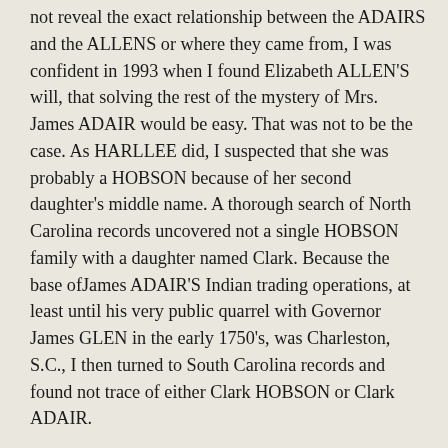not reveal the exact relationship between the ADAIRS and the ALLENS or where they came from, I was confident in 1993 when I found Elizabeth ALLEN'S will, that solving the rest of the mystery of Mrs. James ADAIR would be easy. That was not to be the case. As HARLLEE did, I suspected that she was probably a HOBSON because of her second daughter's middle name. A thorough search of North Carolina records uncovered not a single HOBSON family with a daughter named Clark. Because the base ofJames ADAIR'S Indian trading operations, at least until his very public quarrel with Governor James GLEN in the early 1750's, was Charleston, S.C., I then turned to South Carolina records and found not trace of either Clark HOBSON or Clark ADAIR.